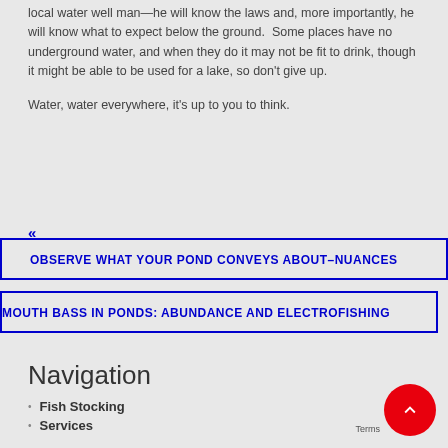local water well man—he will know the laws and, more importantly, he will know what to expect below the ground.  Some places have no underground water, and when they do it may not be fit to drink, though it might be able to be used for a lake, so don't give up.
Water, water everywhere, it's up to you to think.
«
OBSERVE WHAT YOUR POND CONVEYS ABOUT–NUANCES
MOUTH BASS IN PONDS: ABUNDANCE AND ELECTROFISHING
Navigation
Fish Stocking
Services